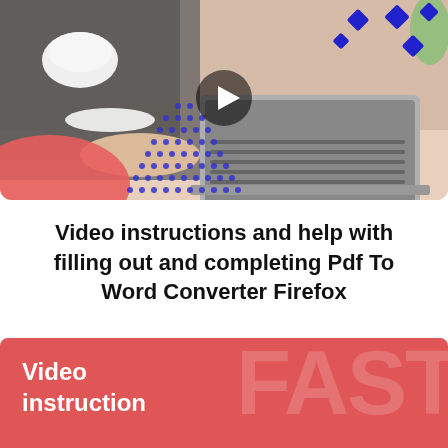[Figure (photo): Person holding a coffee cup with one hand and typing on a laptop with the other, overlaid with decorative blue dotted triangle, red blob, and blue diamond shapes. A play button icon is centered on the image.]
Video instructions and help with filling out and completing Pdf To Word Converter Firefox
[Figure (infographic): Red banner with white bold text 'Video instruction' on the left and large faded white text 'FAST' on the right.]